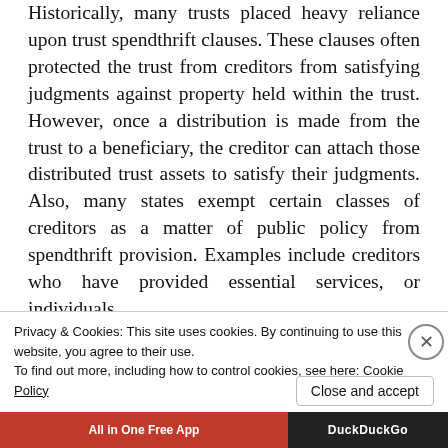Historically, many trusts placed heavy reliance upon trust spendthrift clauses. These clauses often protected the trust from creditors from satisfying judgments against property held within the trust. However, once a distribution is made from the trust to a beneficiary, the creditor can attach those distributed trust assets to satisfy their judgments. Also, many states exempt certain classes of creditors as a matter of public policy from spendthrift provision. Examples include creditors who have provided essential services, or individuals
Privacy & Cookies: This site uses cookies. By continuing to use this website, you agree to their use.
To find out more, including how to control cookies, see here: Cookie Policy
Close and accept
All in One Free App   DuckDuckGo